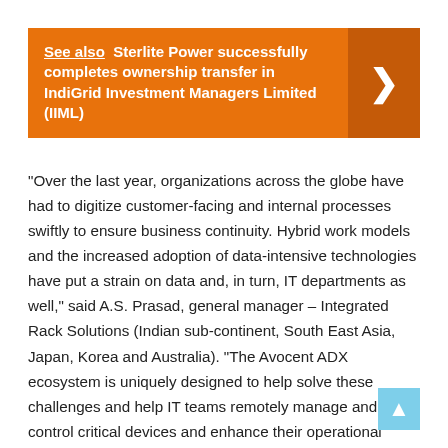See also  Sterlite Power successfully completes ownership transfer in IndiGrid Investment Managers Limited (IIML)
“Over the last year, organizations across the globe have had to digitize customer-facing and internal processes swiftly to ensure business continuity. Hybrid work models and the increased adoption of data-intensive technologies have put a strain on data and, in turn, IT departments as well,” said A.S. Prasad, general manager – Integrated Rack Solutions (Indian sub-continent, South East Asia, Japan, Korea and Australia). “The Avocent ADX ecosystem is uniquely designed to help solve these challenges and help IT teams remotely manage and control critical devices and enhance their operational efficiency over time.”